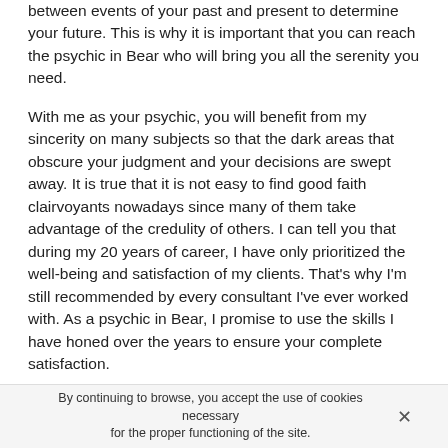between events of your past and present to determine your future. This is why it is important that you can reach the psychic in Bear who will bring you all the serenity you need.
With me as your psychic, you will benefit from my sincerity on many subjects so that the dark areas that obscure your judgment and your decisions are swept away. It is true that it is not easy to find good faith clairvoyants nowadays since many of them take advantage of the credulity of others. I can tell you that during my 20 years of career, I have only prioritized the well-being and satisfaction of my clients. That's why I'm still recommended by every consultant I've ever worked with. As a psychic in Bear, I promise to use the skills I have honed over the years to ensure your complete satisfaction.
By continuing to browse, you accept the use of cookies necessary for the proper functioning of the site.